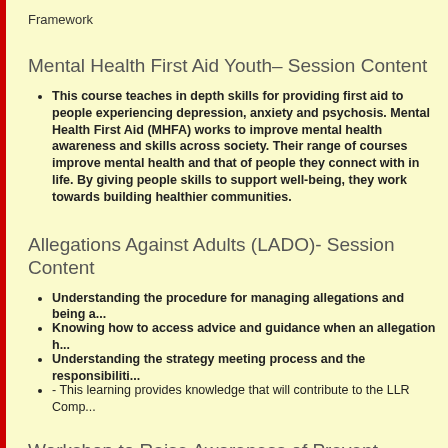Framework
Mental Health First Aid Youth– Session Content
This course teaches in depth skills for providing first aid to people experiencing depression, anxiety and psychosis. Mental Health First Aid (MHFA) works to improve mental health awareness and skills across society. Their range of courses improve mental health and that of people they connect with in life. By giving people skills to support well-being, they work towards building healthier communities.
Allegations Against Adults (LADO)- Session Content
Understanding the procedure for managing allegations and being a...
Knowing how to access advice and guidance when an allegation h...
Understanding the strategy meeting process and the responsibiliti...
- This learning provides knowledge that will contribute to the LLR Comp...
Workshop to Raise Awareness of Prevent – Session Content